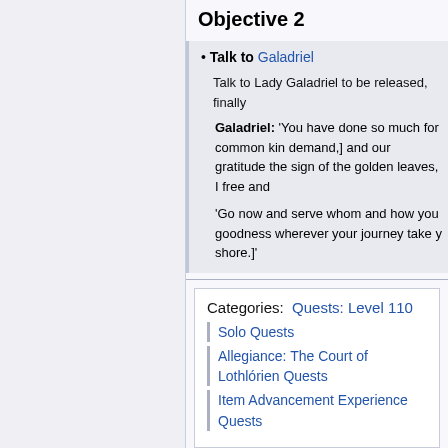Objective 2
Talk to Galadriel
Talk to Lady Galadriel to be released, finally
Galadriel: 'You have done so much for common kin demand,] and our gratitude the sign of the golden leaves, I free and
'Go now and serve whom and how you goodness wherever your journey take y shore.']'
Categories: Quests: Level 110
Solo Quests
Allegiance: The Court of Lothlórien Quests
Item Advancement Experience Quests